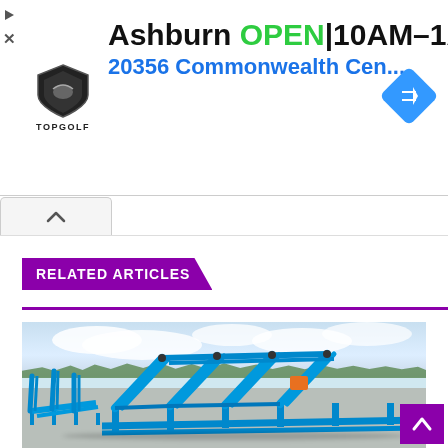[Figure (other): Topgolf advertisement banner showing Ashburn location OPEN 10AM-1AM and 20356 Commonwealth Cen... address with logo and blue navigation arrow]
[Figure (photo): RELATED ARTICLES section header in purple with horizontal rule, followed by a photo of blue metal roller coaster or ride track structures assembled in an outdoor parking area under a partly cloudy sky]